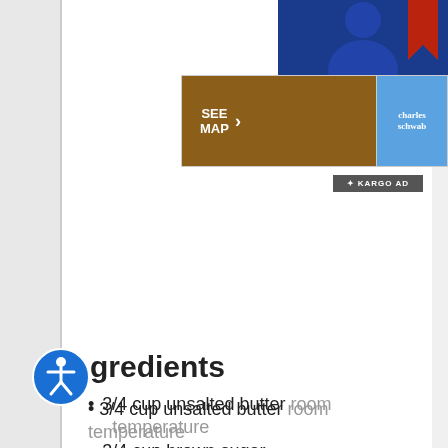[Figure (other): Advertisement banner with SEE MAP button and Charles Schwab logo, plus Kargo ad badge and person photo in top right corner]
Ingredients
3/4 cup unsalted butter room temperature
3/4 cup brown sugar
1/4 cup sugar
1 egg
1 Tbsp pure vanilla extract
2 tsp cornstarch
1 tsp baking soda
1 tsp salt